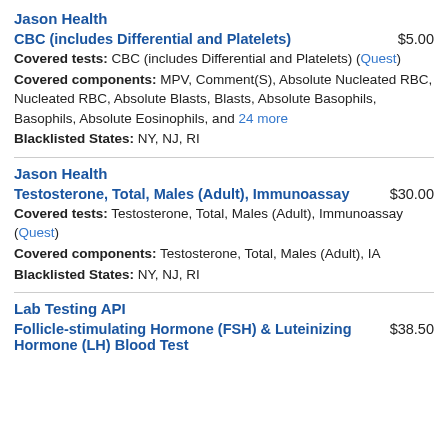Jason Health
CBC (includes Differential and Platelets)   $5.00
Covered tests: CBC (includes Differential and Platelets) (Quest)
Covered components: MPV, Comment(S), Absolute Nucleated RBC, Nucleated RBC, Absolute Blasts, Blasts, Absolute Basophils, Basophils, Absolute Eosinophils, and 24 more
Blacklisted States: NY, NJ, RI
Jason Health
Testosterone, Total, Males (Adult), Immunoassay   $30.00
Covered tests: Testosterone, Total, Males (Adult), Immunoassay (Quest)
Covered components: Testosterone, Total, Males (Adult), IA
Blacklisted States: NY, NJ, RI
Lab Testing API
Follicle-stimulating Hormone (FSH) & Luteinizing Hormone (LH) Blood Test   $38.50